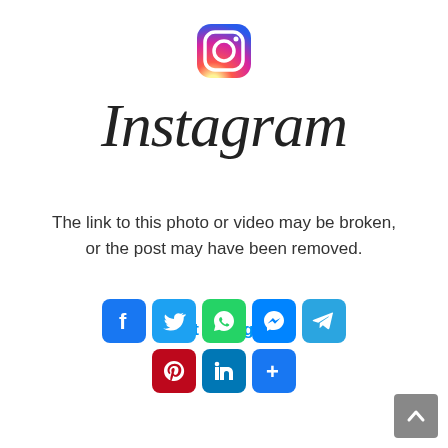[Figure (logo): Instagram camera icon logo with gradient colors (pink/orange to purple)]
Instagram
The link to this photo or video may be broken, or the post may have been removed.
Visit Instagram
[Figure (infographic): Row of social media sharing icons: Facebook (blue), Twitter (light blue), WhatsApp (green), Messenger (blue gradient), Telegram (blue). Second row: Pinterest (red), LinkedIn (teal), Share (blue).]
[Figure (other): Back to top button (grey square with white upward chevron arrow)]